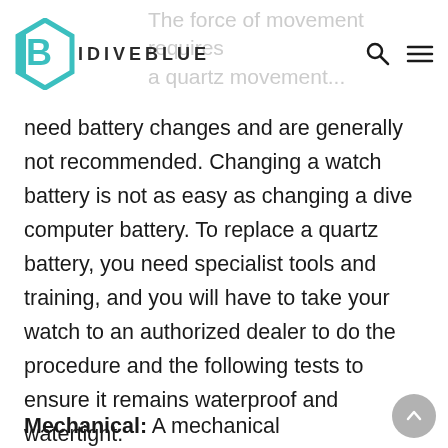IDIVEBLUE
need battery changes and are generally not recommended. Changing a watch battery is not as easy as changing a dive computer battery. To replace a quartz battery, you need specialist tools and training, and you will have to take your watch to an authorized dealer to do the procedure and the following tests to ensure it remains waterproof and watertight.

Mechanical: A mechanical movement
[Figure (logo): IDIVEBLUE logo with teal geometric diamond/hexagon shape and bold lettered brand name]